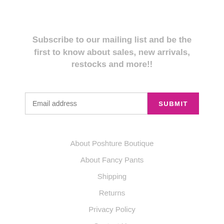Subscribe to our mailing list and be the first to know about sales, new arrivals, restocks and more!!
[Figure (other): Email address input field with placeholder text 'Email address' and a magenta SUBMIT button]
About Poshture Boutique
About Fancy Pants
Shipping
Returns
Privacy Policy
Contact Us